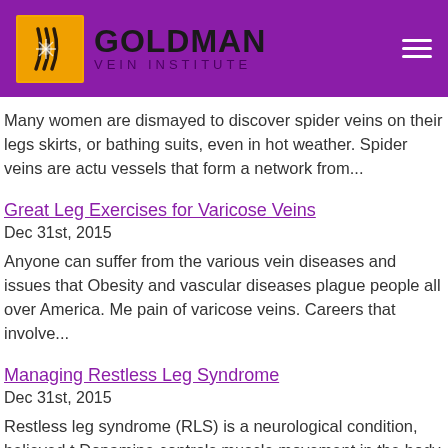Goldman Vein Institute
Many women are dismayed to discover spider veins on their legs skirts, or bathing suits, even in hot weather. Spider veins are actu vessels that form a network from...
Great Leg Exercises for Varicose Veins
Dec 31st, 2015
Anyone can suffer from the various vein diseases and issues that Obesity and vascular diseases plague people all over America. Me pain of varicose veins. Careers that involve...
Managing Restless Leg Syndrome
Dec 31st, 2015
Restless leg syndrome (RLS) is a neurological condition, believed t Dopamine controls muscle movement in the body. When there is